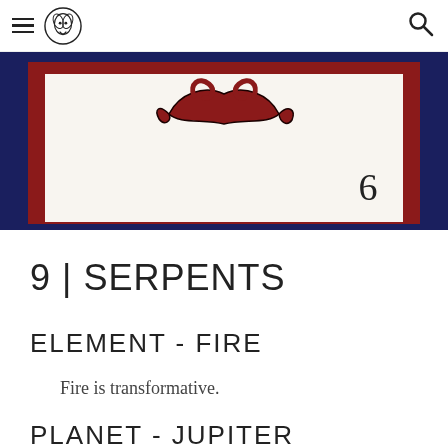navigation header with hamburger menu, logo, and search icon
[Figure (photo): A tarot or divination card with dark navy blue outer border, red inner border, white center field. A red serpentine or dragon-like figure at top center, and the number 6 in the lower right of the white field.]
9 | SERPENTS
ELEMENT - FIRE
Fire is transformative.
PLANET - JUPITER